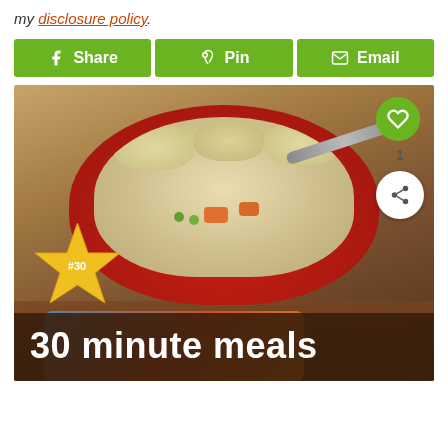my disclosure policy.
[Figure (infographic): Social sharing buttons: Share (Facebook), Pin (Pinterest), Email — green buttons with icons]
[Figure (photo): Food photo of chicken pot pie soup in a red bowl with dumplings, vegetables (carrots, peas), creamy broth and a spoon. Overlay: gold star badge with '#30', title banner '30 minute meals', heart/like button (1 like), share icon.]